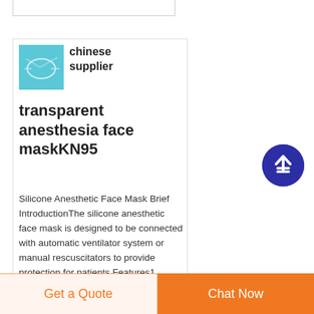[Figure (photo): Small product thumbnail showing a transparent silicone anesthesia face mask on a blue background]
chinese supplier transparent anesthesia face maskKN95
Silicone Anesthetic Face Mask Brief IntroductionThe silicone anesthetic face mask is designed to be connected with automatic ventilator system or manual rescuscitators to provide protection for patients Features1 Silicone anesthetic face mask is with transparent
[Figure (illustration): Dark blue circular scroll-to-top button with an upward arrow icon]
Get a Quote
Chat Now